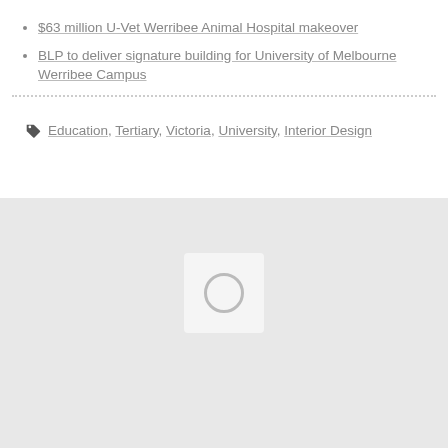$63 million U-Vet Werribee Animal Hospital makeover
BLP to deliver signature building for University of Melbourne Werribee Campus
Education, Tertiary, Victoria, University, Interior Design
[Figure (other): Placeholder image box with a circle icon on a light grey background]